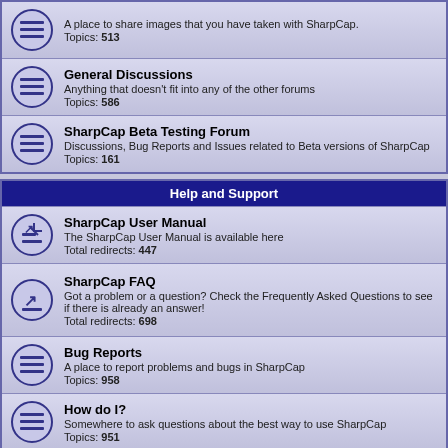Gallery - A place to share images that you have taken with SharpCap. Topics: 513
General Discussions - Anything that doesn't fit into any of the other forums. Topics: 586
SharpCap Beta Testing Forum - Discussions, Bug Reports and Issues related to Beta versions of SharpCap. Topics: 161
Help and Support
SharpCap User Manual - The SharpCap User Manual is available here. Total redirects: 447
SharpCap FAQ - Got a problem or a question? Check the Frequently Asked Questions to see if there is already an answer! Total redirects: 698
Bug Reports - A place to report problems and bugs in SharpCap. Topics: 958
How do I? - Somewhere to ask questions about the best way to use SharpCap. Topics: 951
Tutorials - A place to post guides, instructions and HOWTO documents on the use of SharpCap and Astrophotography in general